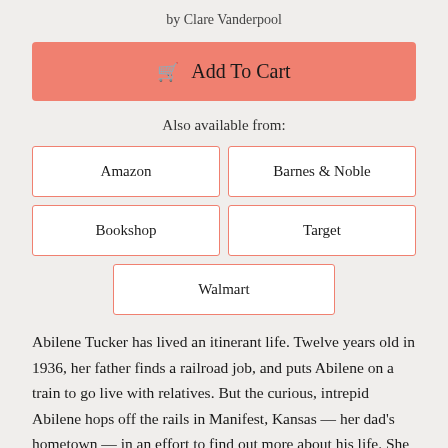by Clare Vanderpool
🛒 Add To Cart
Also available from:
Amazon
Barnes & Noble
Bookshop
Target
Walmart
Abilene Tucker has lived an itinerant life. Twelve years old in 1936, her father finds a railroad job, and puts Abilene on a train to go live with relatives. But the curious, intrepid Abilene hops off the rails in Manifest, Kansas — her dad's hometown — in an effort to find out more about his life. She meets a host of